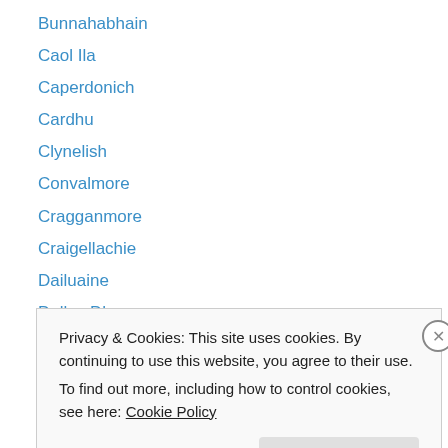Bunnahabhain
Caol Ila
Caperdonich
Cardhu
Clynelish
Convalmore
Cragganmore
Craigellachie
Dailuaine
Dallas Dhu
Dalmore (The)
Deanston
Dufftown
Privacy & Cookies: This site uses cookies. By continuing to use this website, you agree to their use. To find out more, including how to control cookies, see here: Cookie Policy